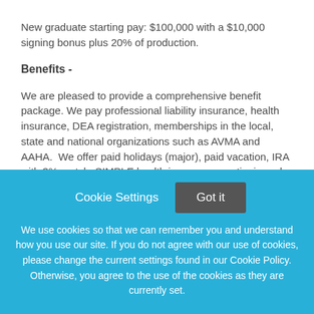New graduate starting pay: $100,000 with a $10,000 signing bonus plus 20% of production.
Benefits -
We are pleased to provide a comprehensive benefit package. We pay professional liability insurance, health insurance, DEA registration, memberships in the local, state and national organizations such as AVMA and AAHA.  We offer paid holidays (major), paid vacation, IRA with 3% match, SIMPLE health insurance, continuing education, and
Cookie Settings   Got it
We use cookies so that we can remember you and understand how you use our site. If you do not agree with our use of cookies, please change the current settings found in our Cookie Policy. Otherwise, you agree to the use of the cookies as they are currently set.